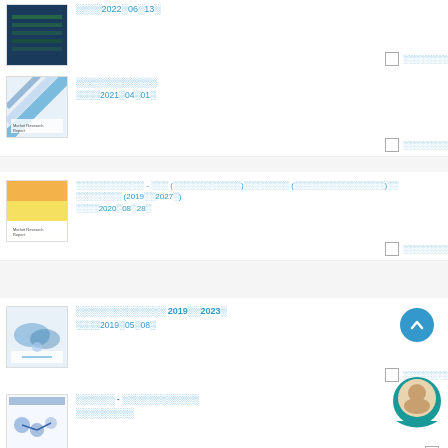░░░░2022░06░13░
░░░░░░░░░░░░
░░░░2021░04░01░
░░░░░░░░░░░░ - ░░░ (░░░░░░░░░░░░)░░░░░░░░ (░░░░░░░░░░░░░░░░)░░
░░░░░░░░ (2019░░2027░)
░░░░2020░08░28░
░░░░░░░░░░░░░░ 2019░░2023░
░░░░2019░05░08░
░░░░░░ - ░░░░░░░░░░░░
░░░░░░░░░